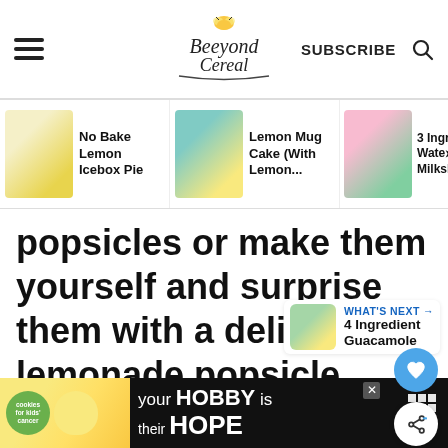Beeyond Cereal | SUBSCRIBE
[Figure (screenshot): Navigation strip with three recipe thumbnails: No Bake Lemon Icebox Pie, Lemon Mug Cake (With Lemon...), 3 Ingredient Watermelon Milkshake]
popsicles or make them yourself and surprise them with a delicious lemonade popsicle.
ADVERTISEMENT
WHAT'S NEXT → 4 Ingredient Guacamole
[Figure (screenshot): Bottom advertisement bar: cookies for kids' cancer — your HOBBY is their HOPE]